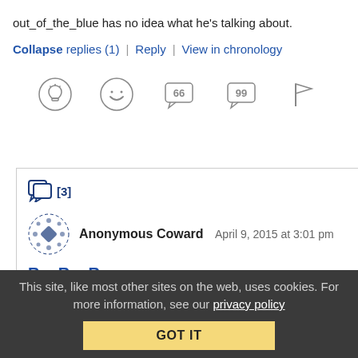out_of_the_blue has no idea what he's talking about.
Collapse replies (1) | Reply | View in chronology
[Figure (illustration): Row of 5 comment action icons: lightbulb (insightful), laughing face (funny), speech bubble with 66 (quote), speech bubble with 99 (quote), and flag icon]
[3]
[Figure (illustration): Anonymous Coward avatar icon: dotted circle pattern in blue]
Anonymous Coward   April 9, 2015 at 3:01 pm
Re: Re: Re:
This site, like most other sites on the web, uses cookies. For more information, see our privacy policy
GOT IT